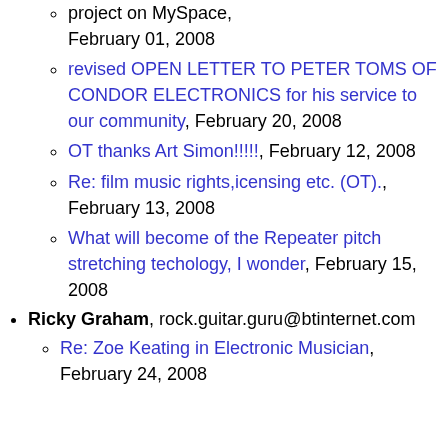revised OPEN LETTER TO PETER TOMS OF CONDOR ELECTRONICS for his service to our community, February 20, 2008
OT thanks Art Simon!!!!!, February 12, 2008
Re: film music rights,icensing etc. (OT)., February 13, 2008
What will become of the Repeater pitch stretching techology, I wonder, February 15, 2008
Ricky Graham, rock.guitar.guru@btinternet.com
Re: Zoe Keating in Electronic Musician, February 24, 2008